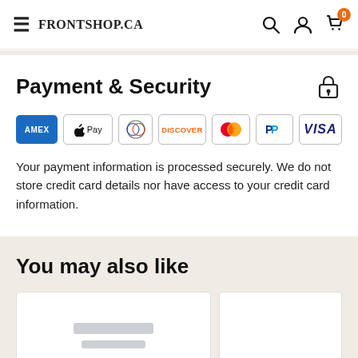FRONTSHOP.CA
Payment & Security
[Figure (other): Payment method icons: Amex, Apple Pay, Diners Club, Discover, Mastercard, PayPal, Visa]
Your payment information is processed securely. We do not store credit card details nor have access to your credit card information.
You may also like
[Figure (photo): Product image placeholder (blurred/loading)]